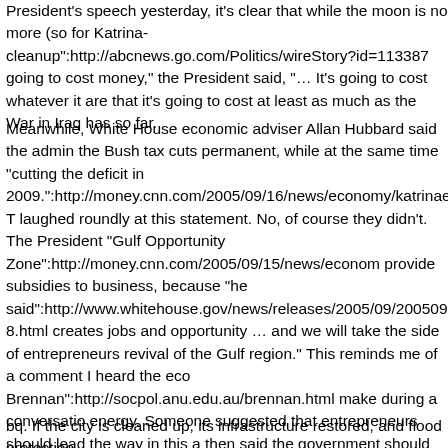President's speech yesterday, it's clear that while the moon is no more (so for Katrina-cleanup":http://abcnews.go.com/Politics/wireStory?id=113387 going to cost money," the President said, "… It's going to cost whatever it are that it's going to cost at least as much as the War in Iraq has so far.
Meanwhile, White House economic adviser Allan Hubbard said the admin the Bush tax cuts permanent, while at the same time "cutting the deficit in 2009.":http://money.cnn.com/2005/09/16/news/economy/katrinaebuild/ T laughed roundly at this statement. No, of course they didn't. The President "Gulf Opportunity Zone":http://money.cnn.com/2005/09/15/news/econom provide subsidies to business, because "he said":http://www.whitehouse.gov/news/releases/2005/09/20050915-8.html creates jobs and opportunity … and we will take the side of entrepreneurs revival of the Gulf region." This reminds me of a comment I heard the eco Brennan":http://socpol.anu.edu.au/brennan.html make during a conversatio energy. Someone suggested that entrepreneurs should lead the way in this a then said the government should maybe offer some subsidies or assistance program. "I think you have a different concept of entrepreneur from me," s says":http://maxspeak.org/mt/archives/001610.html
bq. If the city is cleaned up, its infrastructure restored, and flood protection